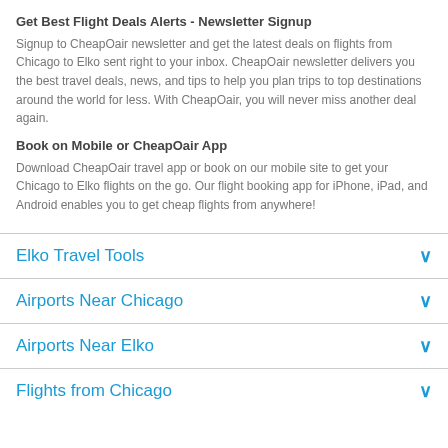Get Best Flight Deals Alerts - Newsletter Signup
Signup to CheapOair newsletter and get the latest deals on flights from Chicago to Elko sent right to your inbox. CheapOair newsletter delivers you the best travel deals, news, and tips to help you plan trips to top destinations around the world for less. With CheapOair, you will never miss another deal again.
Book on Mobile or CheapOair App
Download CheapOair travel app or book on our mobile site to get your Chicago to Elko flights on the go. Our flight booking app for iPhone, iPad, and Android enables you to get cheap flights from anywhere!
Elko Travel Tools
Airports Near Chicago
Airports Near Elko
Flights from Chicago